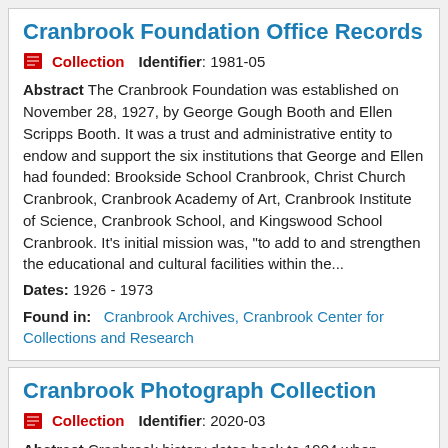Cranbrook Foundation Office Records
Collection   Identifier: 1981-05
Abstract The Cranbrook Foundation was established on November 28, 1927, by George Gough Booth and Ellen Scripps Booth. It was a trust and administrative entity to endow and support the six institutions that George and Ellen had founded: Brookside School Cranbrook, Christ Church Cranbrook, Cranbrook Academy of Art, Cranbrook Institute of Science, Cranbrook School, and Kingswood School Cranbrook. It's initial mission was, "to add to and strengthen the educational and cultural facilities within the...
Dates: 1926 - 1973
Found in:  Cranbrook Archives, Cranbrook Center for Collections and Research
Cranbrook Photograph Collection
Collection   Identifier: 2020-03
Abstract Cranbrook history dates back to 1904 when George and Ellen Booth purchased land in Bloomfield Hills, MI for their home. The next five decades...